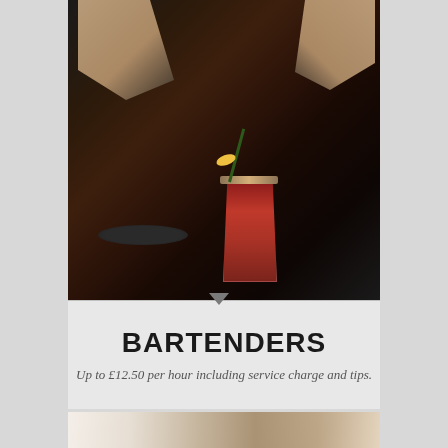[Figure (photo): A bartender preparing a cocktail. A tall glass with a red drink, garnished with a lemon slice and rosemary, on a dark wooden bar surface. A dark plate is visible on the left. Two hands are visible preparing the drink.]
BARTENDERS
Up to £12.50 per hour including service charge and tips.
[Figure (photo): Partial view of a food dish on a white plate, with someone's hands visible on the right side.]